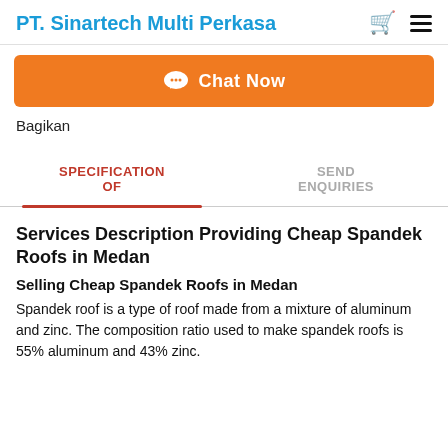PT. Sinartech Multi Perkasa
[Figure (other): Chat Now button bar with orange background and chat bubble icon]
Bagikan
SPECIFICATION OF
SEND ENQUIRIES
Services Description Providing Cheap Spandek Roofs in Medan
Selling Cheap Spandek Roofs in Medan
Spandek roof is a type of roof made from a mixture of aluminum and zinc. The composition ratio used to make spandek roofs is 55% aluminum and 43% zinc.